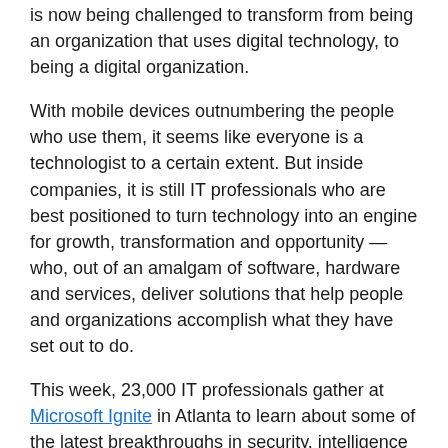is now being challenged to transform from being an organization that uses digital technology, to being a digital organization.
With mobile devices outnumbering the people who use them, it seems like everyone is a technologist to a certain extent. But inside companies, it is still IT professionals who are best positioned to turn technology into an engine for growth, transformation and opportunity — who, out of an amalgam of software, hardware and services, deliver solutions that help people and organizations accomplish what they have set out to do.
This week, 23,000 IT professionals gather at Microsoft Ignite in Atlanta to learn about some of the latest breakthroughs in security, intelligence and the cloud — the digital infrastructure that will lead to limitless scale and unimaginable potential to innovate. Read more about today's news in our press release.
IT at the heart of digital transformation